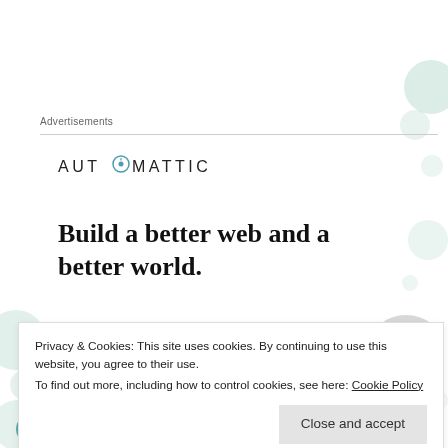Advertisements
[Figure (logo): Automattic logo with compass icon replacing the letter O]
Build a better web and a better world.
Privacy & Cookies: This site uses cookies. By continuing to use this website, you agree to their use.
To find out more, including how to control cookies, see here: Cookie Policy
technology, being used to support and repair the